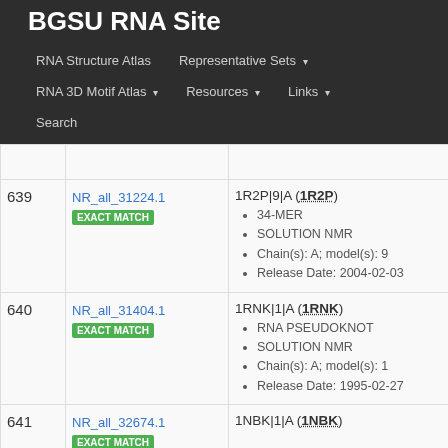BGSU RNA Site
RNA Structure Atlas | Representative Sets | RNA 3D Motif Atlas | Resources | Links | Search
| # | ID | Info |
| --- | --- | --- |
| 639 | NR_all_31224.1
EXACT MATCH | 1R2P|9|A (1R2P)
34-MER
SOLUTION NMR
Chain(s): A; model(s): 9
Release Date: 2004-02-03 |
| 640 | NR_all_31404.1
EXACT MATCH | 1RNK|1|A (1RNK)
RNA PSEUDOKNOT
SOLUTION NMR
Chain(s): A; model(s): 1
Release Date: 1995-02-27 |
| 641 | NR_all_32674.1
EXACT MATCH | 1NBK|1|A (1NBK) |